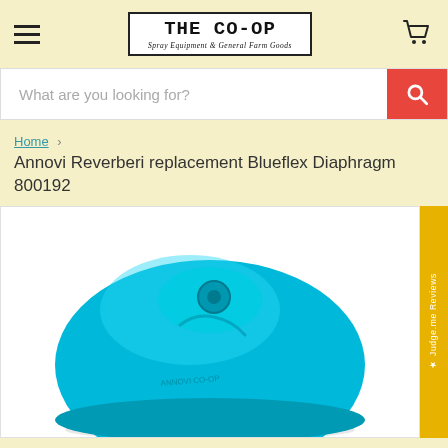THE CO-OP — Spray Equipment & General Farm Goods
What are you looking for?
Home > Annovi Reverberi replacement Blueflex Diaphragm 800192
Annovi Reverberi replacement Blueflex Diaphragm 800192
[Figure (photo): Blue dome-shaped Blueflex diaphragm component, viewed from above, showing a circular cap with a central mounting point and curved grooves, in bright cyan/blue color]